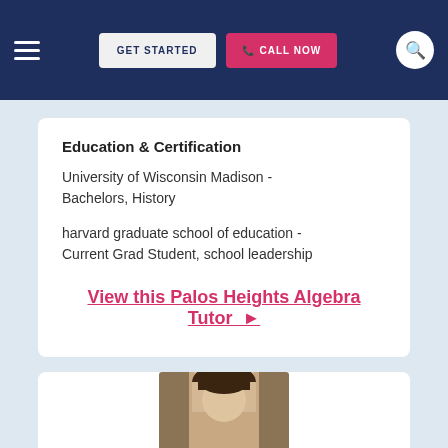GET STARTED | CALL NOW
Education & Certification
University of Wisconsin Madison - Bachelors, History
harvard graduate school of education - Current Grad Student, school leadership
View this Palos Heights Algebra Tutor ▶
[Figure (photo): Partial photo of a person visible at the bottom of the page]